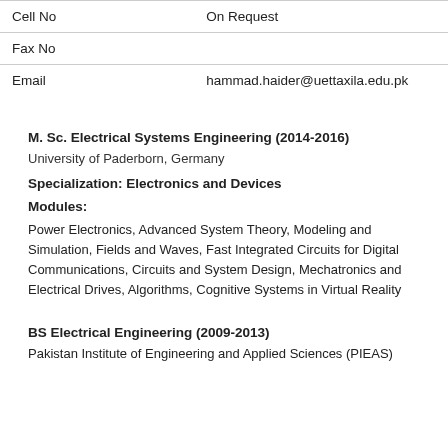| Field | Value |
| --- | --- |
| Cell No | On Request |
| Fax No |  |
| Email | hammad.haider@uettaxila.edu.pk |
M. Sc. Electrical Systems Engineering (2014-2016)
University of Paderborn, Germany
Specialization: Electronics and Devices
Modules:
Power Electronics, Advanced System Theory, Modeling and Simulation, Fields and Waves, Fast Integrated Circuits for Digital Communications, Circuits and System Design, Mechatronics and Electrical Drives, Algorithms, Cognitive Systems in Virtual Reality
BS Electrical Engineering (2009-2013)
Pakistan Institute of Engineering and Applied Sciences (PIEAS)